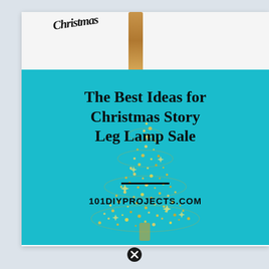[Figure (illustration): Blog post thumbnail image on a light gray background. Upper portion shows a white card area with a partial view of a Christmas-themed ornament or leg lamp illustration with text 'Christmas' partially visible and a golden/tan leg shape. Below is a bright teal/turquoise rectangle featuring a gold glitter Christmas tree illustration. Overlaid black text reads 'The Best Ideas for Christmas Story Leg Lamp Sale' with a horizontal divider line and '101DIYPROJECTS.COM' below. A close/cancel icon (circled X) appears at the bottom of the page.]